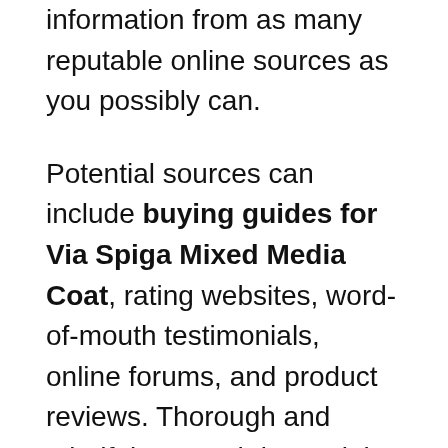information from as many reputable online sources as you possibly can.
Potential sources can include buying guides for Via Spiga Mixed Media Coat, rating websites, word-of-mouth testimonials, online forums, and product reviews. Thorough and mindful research is crucial to making sure you get your hands on the best possible Via Spiga Mixed Media Coat. Make sure that you are only using trustworthy and credible websites and sources.
We provide an Via Spiga Mixed Media Coat